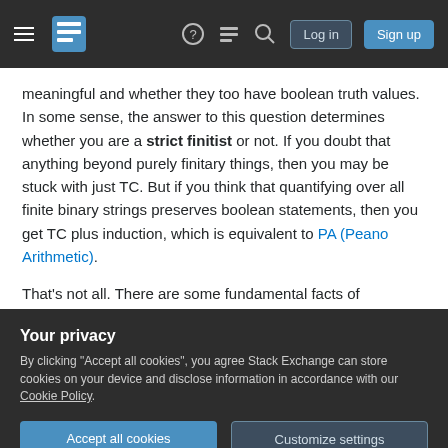Stack Exchange navigation bar with hamburger menu, logo, help, chat, search, login and sign up buttons
meaningful and whether they too have boolean truth values. In some sense, the answer to this question determines whether you are a strict finitist or not. If you doubt that anything beyond purely finitary things, then you may be stuck with just TC. But if you think that quantifying over all finite binary strings preserves boolean statements, then you get TC plus induction, which is equivalent to PA (Peano Arithmetic).
That's not all. There are some fundamental facts of
Your privacy
By clicking "Accept all cookies", you agree Stack Exchange can store cookies on your device and disclose information in accordance with our Cookie Policy.
Accept all cookies
Customize settings
order arithmetic in order to have genuine meaning,